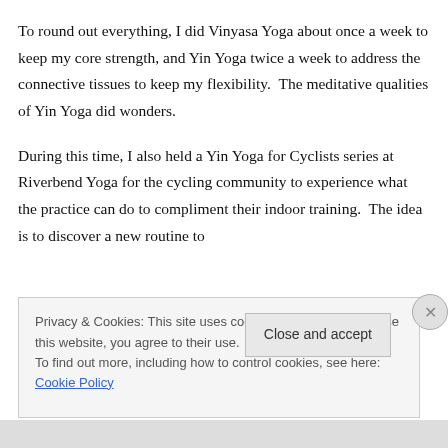To round out everything, I did Vinyasa Yoga about once a week to keep my core strength, and Yin Yoga twice a week to address the connective tissues to keep my flexibility.  The meditative qualities of Yin Yoga did wonders.
During this time, I also held a Yin Yoga for Cyclists series at Riverbend Yoga for the cycling community to experience what the practice can do to compliment their indoor training.  The idea is to discover a new routine to
Privacy & Cookies: This site uses cookies. By continuing to use this website, you agree to their use.
To find out more, including how to control cookies, see here: Cookie Policy
Close and accept